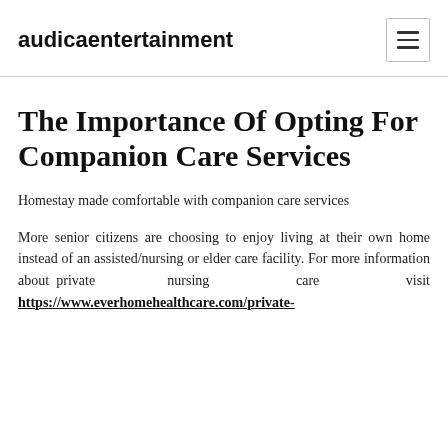audicaentertainment
The Importance Of Opting For Companion Care Services
Homestay made comfortable with companion care services
More senior citizens are choosing to enjoy living at their own home instead of an assisted/nursing or elder care facility. For more information about private nursing care visit https://www.everhomehealthcare.com/private-